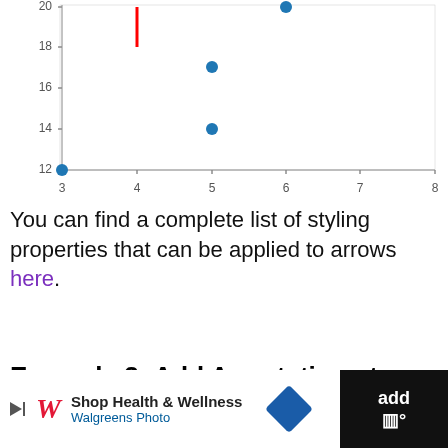[Figure (continuous-plot): Scatter plot showing data points (blue dots) at approximately (3,12), (5,14), (5,17), (6,20), with a red vertical annotation line at x=4 from y=18 to y=20. X-axis ranges from 3 to 8, Y-axis ranges from 12 to 20.]
You can find a complete list of styling properties that can be applied to arrows here.
Example 3: Add Annotations to Arrows
[Figure (other): Advertisement bar for Walgreens Photo - Shop Health & Wellness]